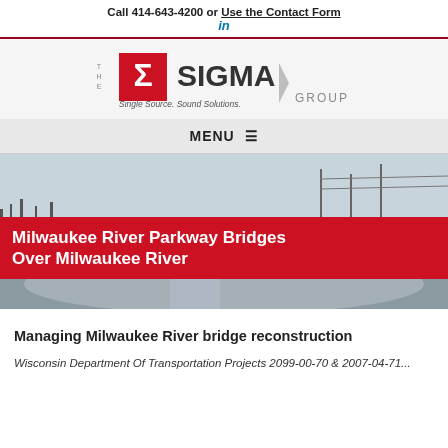Call 414-643-4200 or Use the Contact Form
[Figure (logo): The Sigma Group logo — red/white sigma symbol with 'THE' stacked on left, 'SIGMA' in bold dark letters, 'Single Source. Sound Solutions.' tagline, and 'GROUP' text]
MENU ≡
[Figure (photo): Aerial/ground-level photo of Milwaukee River parkway bridge area in winter, bare trees, road, river visible]
Milwaukee River Parkway Bridges Over Milwaukee River
Managing Milwaukee River bridge reconstruction
Wisconsin Department Of Transportation Projects 2099-00-70 & 2007-04-71...